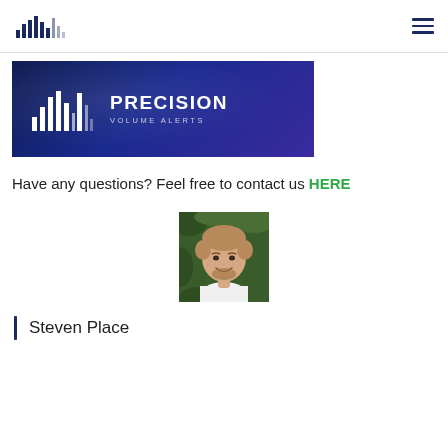Precision Volume Alerts — navigation bar with logo and hamburger menu
[Figure (logo): Precision Volume Alerts banner logo with bar chart icon and text 'PRECISION VOLUME ALERTS' on dark blue/purple gradient background]
Have any questions? Feel free to contact us HERE
[Figure (photo): Headshot photo of Steven Place, a young man smiling, outdoors with green foliage background, wearing white shirt]
Steven Place